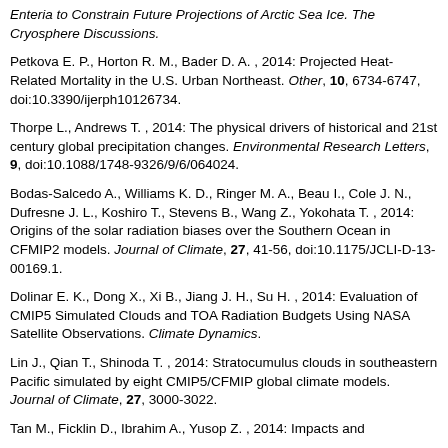Enteria to Constrain Future Projections of Arctic Sea Ice. The Cryosphere Discussions.
Petkova E. P., Horton R. M., Bader D. A. , 2014: Projected Heat-Related Mortality in the U.S. Urban Northeast. Other, 10, 6734-6747, doi:10.3390/ijerph10126734.
Thorpe L., Andrews T. , 2014: The physical drivers of historical and 21st century global precipitation changes. Environmental Research Letters, 9, doi:10.1088/1748-9326/9/6/064024.
Bodas-Salcedo A., Williams K. D., Ringer M. A., Beau I., Cole J. N., Dufresne J. L., Koshiro T., Stevens B., Wang Z., Yokohata T. , 2014: Origins of the solar radiation biases over the Southern Ocean in CFMIP2 models. Journal of Climate, 27, 41-56, doi:10.1175/JCLI-D-13-00169.1.
Dolinar E. K., Dong X., Xi B., Jiang J. H., Su H. , 2014: Evaluation of CMIP5 Simulated Clouds and TOA Radiation Budgets Using NASA Satellite Observations. Climate Dynamics.
Lin J., Qian T., Shinoda T. , 2014: Stratocumulus clouds in southeastern Pacific simulated by eight CMIP5/CFMIP global climate models. Journal of Climate, 27, 3000-3022.
Tan M., Ficklin D., Ibrahim A., Yusop Z. , 2014: Impacts and